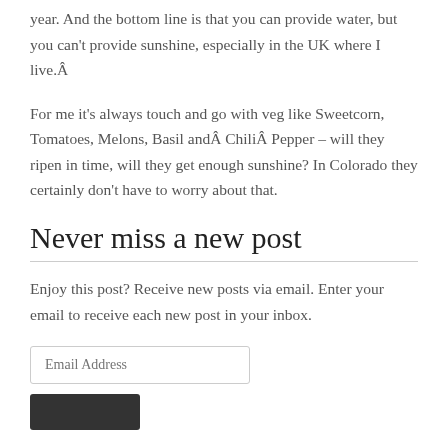year. And the bottom line is that you can provide water, but you can't provide sunshine, especially in the UK where I live.Â
For me it's always touch and go with veg like Sweetcorn, Tomatoes, Melons, Basil andÂ ChiliÂ Pepper – will they ripen in time, will they get enough sunshine? In Colorado they certainly don't have to worry about that.
Never miss a new post
Enjoy this post? Receive new posts via email. Enter your email to receive each new post in your inbox.